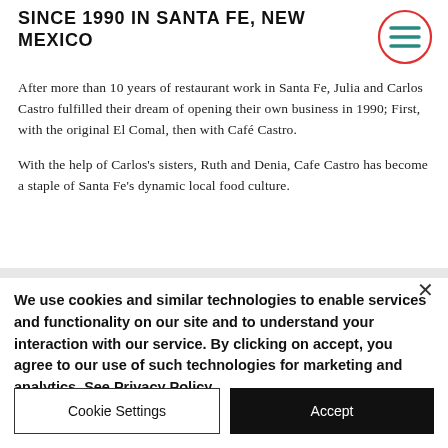SINCE 1990 IN SANTA FE, NEW MEXICO
[Figure (illustration): Red circle with teal hamburger menu icon (three horizontal lines) in top right corner]
After more than 10 years of restaurant work in Santa Fe, Julia and Carlos Castro fulfilled their dream of opening their own business in 1990; First, with the original El Comal, then with Café Castro.
With the help of Carlos's sisters, Ruth and Denia, Cafe Castro has become a staple of Santa Fe's dynamic local food culture.
We use cookies and similar technologies to enable services and functionality on our site and to understand your interaction with our service. By clicking on accept, you agree to our use of such technologies for marketing and analytics. See Privacy Policy